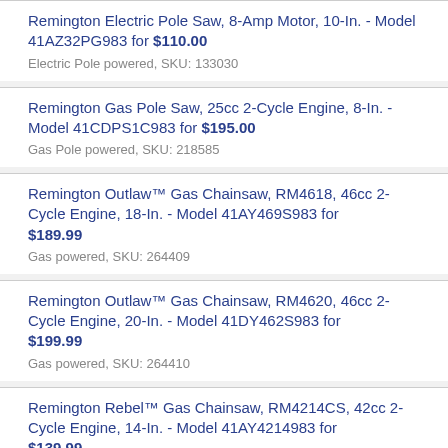Remington Electric Pole Saw, 8-Amp Motor, 10-In. - Model 41AZ32PG983 for $110.00
Electric Pole powered, SKU: 133030
Remington Gas Pole Saw, 25cc 2-Cycle Engine, 8-In. - Model 41CDPS1C983 for $195.00
Gas Pole powered, SKU: 218585
Remington Outlaw™ Gas Chainsaw, RM4618, 46cc 2-Cycle Engine, 18-In. - Model 41AY469S983 for $189.99
Gas powered, SKU: 264409
Remington Outlaw™ Gas Chainsaw, RM4620, 46cc 2-Cycle Engine, 20-In. - Model 41DY462S983 for $199.99
Gas powered, SKU: 264410
Remington Rebel™ Gas Chainsaw, RM4214CS, 42cc 2-Cycle Engine, 14-In. - Model 41AY4214983 for $139.99
Gas powered, SKU: 264405
Remington Rebel™ Gas Chainsaw, RM4216CS, 42cc 2-